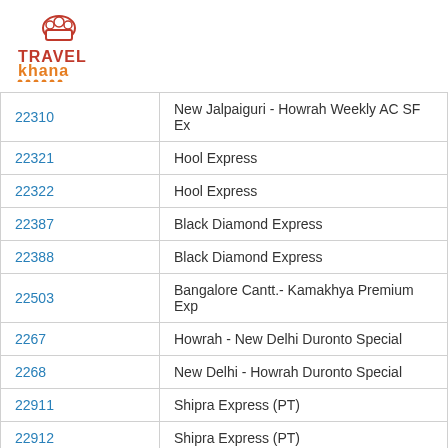[Figure (logo): TravelKhana logo with chef hat icon and orange dots]
| 22310 | New Jalpaiguri - Howrah Weekly AC SF Ex |
| 22321 | Hool Express |
| 22322 | Hool Express |
| 22387 | Black Diamond Express |
| 22388 | Black Diamond Express |
| 22503 | Bangalore Cantt.- Kamakhya Premium Exp |
| 2267 | Howrah - New Delhi Duronto Special |
| 2268 | New Delhi - Howrah Duronto Special |
| 22911 | Shipra Express (PT) |
| 22912 | Shipra Express (PT) |